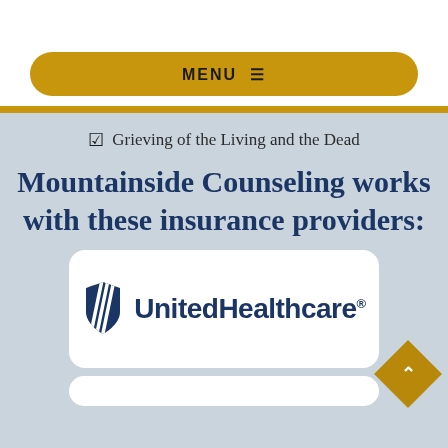[Figure (other): Gold/amber rounded rectangle menu button with text MENU and hamburger icon]
☑ Grieving of the Living and the Dead
Mountainside Counseling works with these insurance providers:
[Figure (logo): UnitedHealthcare logo with blue shield icon and blue text reading UnitedHealthcare with registered trademark symbol]
[Figure (other): Partial white rounded card visible at bottom of page]